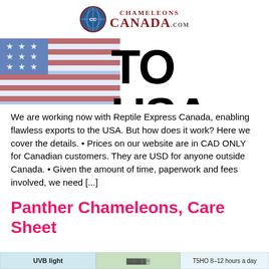[Figure (logo): ChamelonsCanada.com logo with globe icon and red serif text]
[Figure (photo): Banner image showing an American flag on the left and bold black text 'TO USA' on white/blue background]
We are working now with Reptile Express Canada, enabling flawless exports to the USA. But how does it work? Here we cover the details. • Prices on our website are in CAD ONLY for Canadian customers. They are USD for anyone outside Canada. • Given the amount of time, paperwork and fees involved, we need [...]
Panther Chameleons, Care Sheet
[Figure (screenshot): Bottom strip showing a table with UVB light information and T5HO 8-12 hours a day]